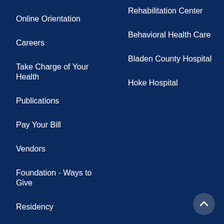Online Orientation
Rehabilitation Center
Careers
Behavioral Health Care
Take Charge of Your Health
Bladen County Hospital
Publications
Hoke Hospital
Pay Your Bill
Vendors
Foundation - Ways to Give
Residency
ValleyWay